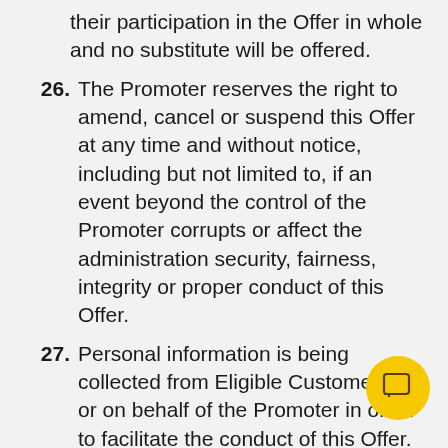their participation in the Offer in whole and no substitute will be offered.
26. The Promoter reserves the right to amend, cancel or suspend this Offer at any time and without notice, including but not limited to, if an event beyond the control of the Promoter corrupts or affect the administration security, fairness, integrity or proper conduct of this Offer.
27. Personal information is being collected from Eligible Customers by or on behalf of the Promoter in order to facilitate the conduct of this Offer. For this purpose, personal information may be disclosed to selected third parties, including but not limited to agents, related entities, contractors, service providers, suppliers, marketing agencies, media outlets, and IT providers and, as required, to Australian